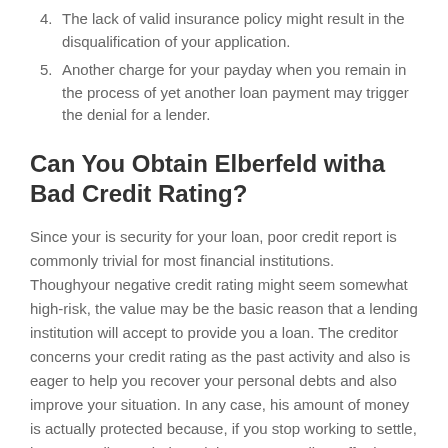4. The lack of valid insurance policy might result in the disqualification of your application.
5. Another charge for your payday when you remain in the process of yet another loan payment may trigger the denial for a lender.
Can You Obtain Elberfeld witha Bad Credit Rating?
Since your is security for your loan, poor credit report is commonly trivial for most financial institutions. Thoughyour negative credit rating might seem somewhat high-risk, the value may be the basic reason that a lending institution will accept to provide you a loan. The creditor concerns your credit rating as the past activity and also is eager to help you recover your personal debts and also improve your situation. In any case, his amount of money is actually protected because, if you stop working to settle, he can easily regularly reclaim your as well as offer it to compensate for his expenses.